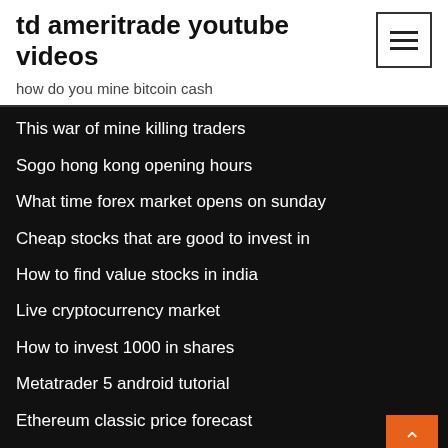td ameritrade youtube videos
how do you mine bitcoin cash
This war of mine killing traders
Sogo hong kong opening hours
What time forex market opens on sunday
Cheap stocks that are good to invest in
How to find value stocks in india
Live cryptocurrency market
How to invest 1000 in shares
Metatrader 5 android tutorial
Ethereum classic price forecast
Eve trade bot